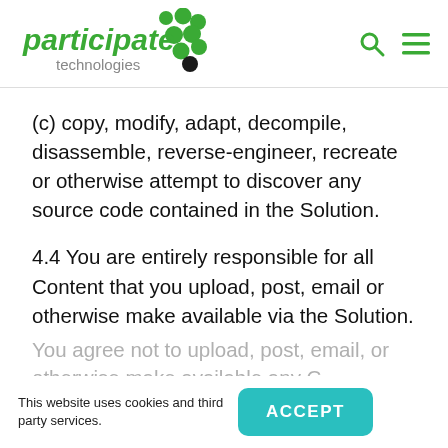[Figure (logo): Participate Technologies logo with green dots icon and italic green text 'participate' with gray 'technologies' below]
(c) copy, modify, adapt, decompile, disassemble, reverse-engineer, recreate or otherwise attempt to discover any source code contained in the Solution.
4.4 You are entirely responsible for all Content that you upload, post, email or otherwise make available via the Solution.
You agree not to upload, post, email, or otherwise make available any C...
This website uses cookies and third party services.
ACCEPT